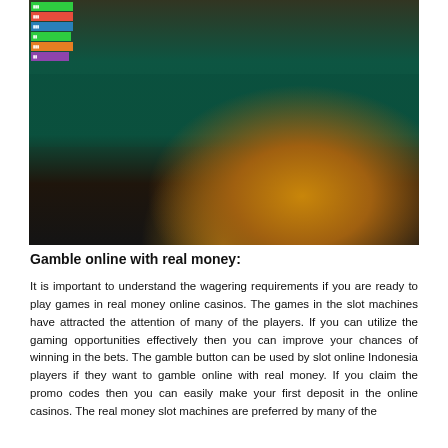[Figure (photo): Group of happy people playing at a roulette table in a casino, with poker chips and a roulette wheel visible. A UI sidebar with colored menu items is partially visible on the left edge.]
Gamble online with real money:
It is important to understand the wagering requirements if you are ready to play games in real money online casinos. The games in the slot machines have attracted the attention of many of the players. If you can utilize the gaming opportunities effectively then you can improve your chances of winning in the bets. The gamble button can be used by slot online Indonesia players if they want to gamble online with real money. If you claim the promo codes then you can easily make your first deposit in the online casinos. The real money slot machines are preferred by many of the